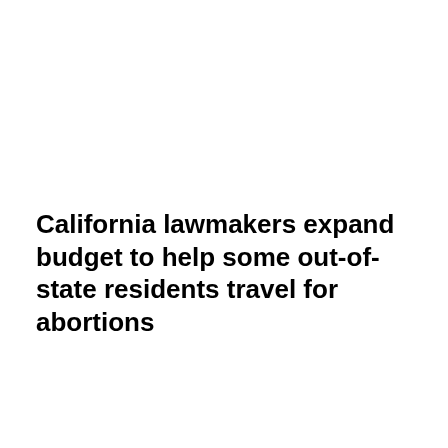[Figure (screenshot): Black video player overlay with a loading spinner (white arc/parenthesis) in the center and a white X close button in the upper right corner]
California lawmakers expand budget to help some out-of-state residents travel for abortions